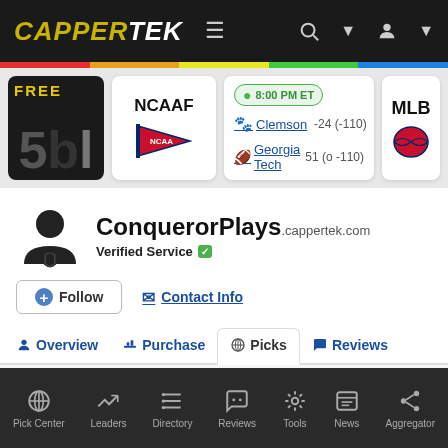CAPPERTEK navigation bar with logo, menu, search, and account icons
[Figure (screenshot): Free picks card with yellow FREE text and dark background]
NCAAF
8:00 PM ET — Clemson -24 (-110), Georgia Tech 51 (o -110)
MLB (partially visible)
ConquerorPlays.cappertek.com
Verified Service
Follow
Contact Info
Overview | Purchase | Picks | Reviews (tabs)
Pick Center | Leaders | Directory | Reviews | Tools | News | Aggregator